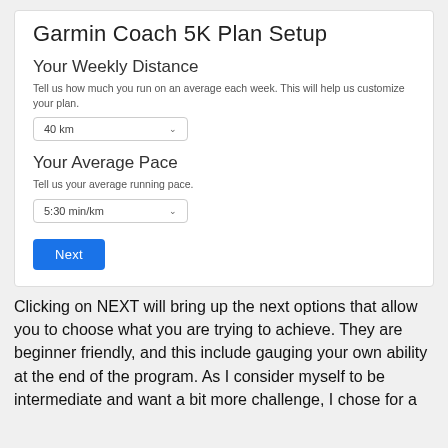Garmin Coach 5K Plan Setup
Your Weekly Distance
Tell us how much you run on an average each week. This will help us customize your plan.
[Figure (screenshot): Dropdown selector showing '40 km' with a chevron arrow]
Your Average Pace
Tell us your average running pace.
[Figure (screenshot): Dropdown selector showing '5:30 min/km' with a chevron arrow]
[Figure (screenshot): Blue 'Next' button]
Clicking on NEXT will bring up the next options that allow you to choose what you are trying to achieve. They are beginner friendly, and this include gauging your own ability at the end of the program. As I consider myself to be intermediate and want a bit more challenge, I chose for a